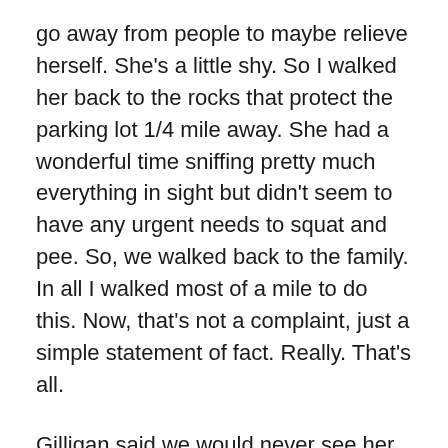go away from people to maybe relieve herself. She's a little shy. So I walked her back to the rocks that protect the parking lot 1/4 mile away. She had a wonderful time sniffing pretty much everything in sight but didn't seem to have any urgent needs to squat and pee. So, we walked back to the family. In all I walked most of a mile to do this. Now, that's not a complaint, just a simple statement of fact. Really. That's all.
Gilligan said we would never see her shiver and honored that claim. She said she was able to do that because the water was so cold it immediately froze her feet to the point where the water actually felt kinda warm. The other two agreed. I recall being that ago...